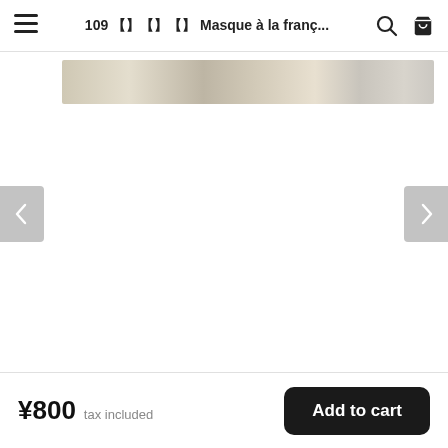109 ？？？？？｜？？？ Masque à la franç...
[Figure (photo): Product image strip showing a light beige/cream colored product (face mask packaging) with a gradient metallic sheen, partially visible at top of product image carousel area.]
¥800  tax included
Add to cart